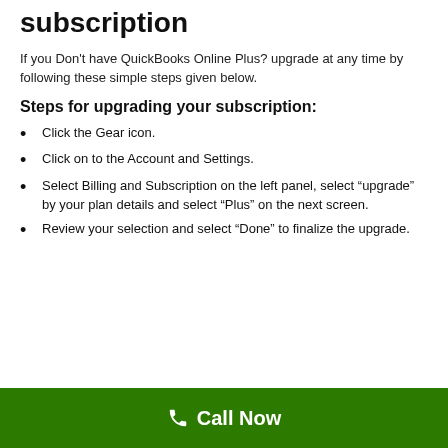subscription
If you Don't have QuickBooks Online Plus? upgrade at any time by following these simple steps given below.
Steps for upgrading your subscription:
Click the Gear icon.
Click on to the Account and Settings.
Select Billing and Subscription on the left panel, select “upgrade” by your plan details and select “Plus” on the next screen.
Review your selection and select “Done” to finalize the upgrade.
Call Now